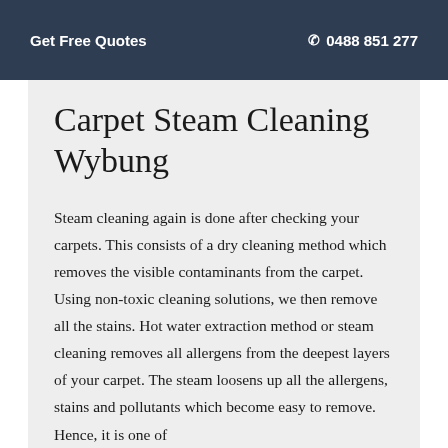Get Free Quotes   ✆ 0488 851 277
Carpet Steam Cleaning Wybung
Steam cleaning again is done after checking your carpets. This consists of a dry cleaning method which removes the visible contaminants from the carpet. Using non-toxic cleaning solutions, we then remove all the stains. Hot water extraction method or steam cleaning removes all allergens from the deepest layers of your carpet. The steam loosens up all the allergens, stains and pollutants which become easy to remove. Hence, it is one of the most effective Carpet Steam Cleaning